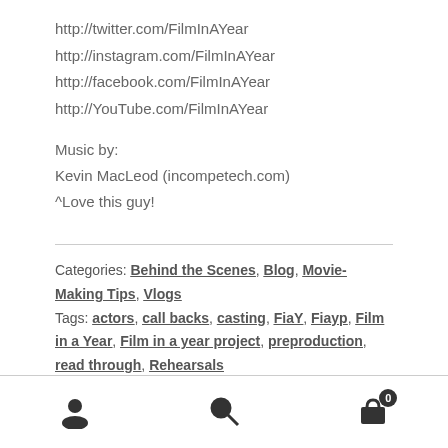http://twitter.com/FilmInAYear
http://instagram.com/FilmInAYear
http://facebook.com/FilmInAYear
http://YouTube.com/FilmInAYear
Music by:
Kevin MacLeod (incompetech.com)
^Love this guy!
Categories: Behind the Scenes, Blog, Movie-Making Tips, Vlogs
Tags: actors, call backs, casting, FiaY, Fiayp, Film in a Year, Film in a year project, preproduction, read through, Rehearsals
Navigation icons: user, search, cart (0)